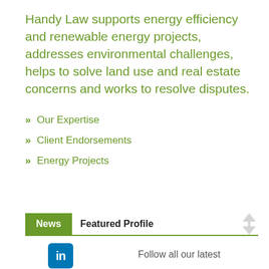Handy Law supports energy efficiency and renewable energy projects, addresses environmental challenges, helps to solve land use and real estate concerns and works to resolve disputes.
» Our Expertise
» Client Endorsements
» Energy Projects
News   Featured Profile
Follow all our latest